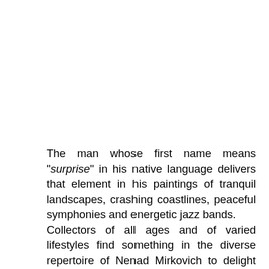The man whose first name means "surprise" in his native language delivers that element in his paintings of tranquil landscapes, crashing coastlines, peaceful symphonies and energetic jazz bands.
Collectors of all ages and of varied lifestyles find something in the diverse repertoire of Nenad Mirkovich to delight the senses.
He delights himself with the reactions of viewers when they discover that the same talented artist painted all these scenes.
Nenad Mirkovich says the varied subject matter and styles he uses in his work are not so different as they